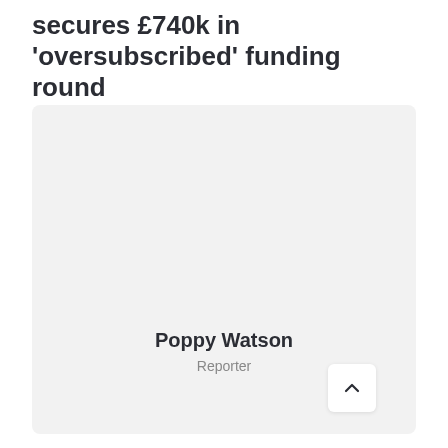secures £740k in 'oversubscribed' funding round
[Figure (photo): Author profile card with name Poppy Watson and title Reporter on a light grey background]
Poppy Watson
Reporter